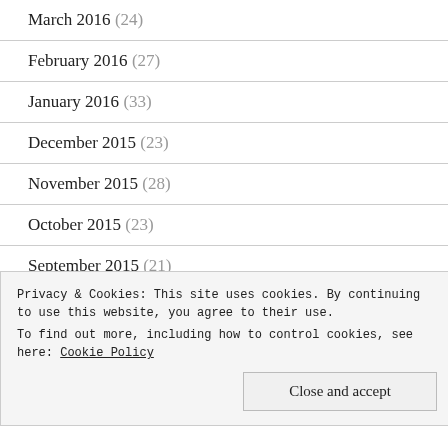March 2016 (24)
February 2016 (27)
January 2016 (33)
December 2015 (23)
November 2015 (28)
October 2015 (23)
September 2015 (21)
August 2015 (22)
Privacy & Cookies: This site uses cookies. By continuing to use this website, you agree to their use.
To find out more, including how to control cookies, see here: Cookie Policy
Close and accept